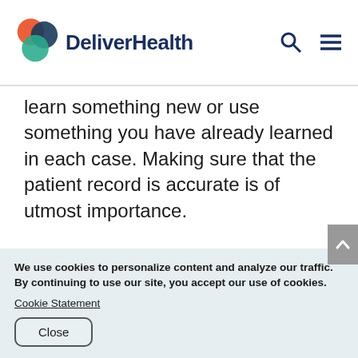DeliverHealth
learn something new or use something you have already learned in each case.  Making sure that the patient record is accurate is of utmost importance.
Q: What advice would you give to
We use cookies to personalize content and analyze our traffic. By continuing to use our site, you accept our use of cookies.
Cookie Statement
Close